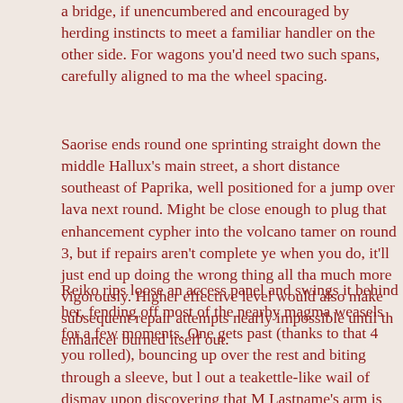a bridge, if unencumbered and encouraged by herding instincts to meet a familiar handler on the other side. For wagons you'd need two such spans, carefully aligned to match the wheel spacing.
Saorise ends round one sprinting straight down the middle of Hallux's main street, a short distance southeast of Paprika, well positioned for a jump over lava next round. Might be close enough to plug that enhancement cypher into the volcano tamer on round 3, but if repairs aren't complete yet when you do, it'll just end up doing the wrong thing all that much more vigorously. Higher effective level would also make subsequent repair attempts nearly impossible until the enhancer burned itself out.
Reiko rips loose an access panel and swings it behind her, fending off most of the nearby magma weasels for a few moments. One gets past (thanks to that 4 you rolled), bouncing up over the rest and biting through a sleeve, but lets out a teakettle-like wail of dismay upon discovering that Ms. Lastname's arm is made of tougher stuff than the weasel's own niobium-alloy teeth. No damage.
Figured out what's wrong with the machine, now it's just a matter of re-tensioning a loose drive belt and degaussing resonator tubes. Two more rounds if all goes well.